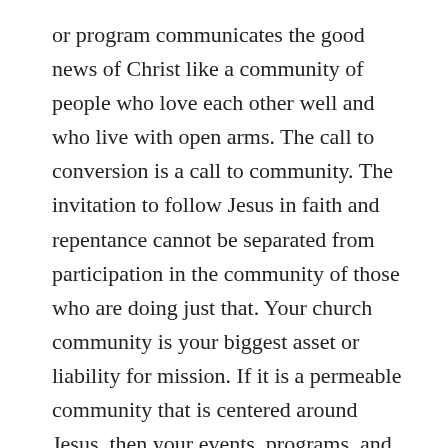or program communicates the good news of Christ like a community of people who love each other well and who live with open arms. The call to conversion is a call to community. The invitation to follow Jesus in faith and repentance cannot be separated from participation in the community of those who are doing just that. Your church community is your biggest asset or liability for mission. If it is a permeable community that is centered around Jesus, then your events, programs, and services will bend towards being hospitable places where outsiders can encounter the people of God.
People are desperate for a community they can belong to. They aren't desperate to be preached